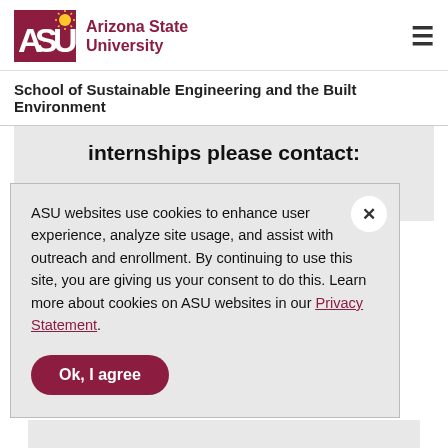ASU Arizona State University
School of Sustainable Engineering and the Built Environment
internships please contact:
Matthew Eicher, PhD
ASU websites use cookies to enhance user experience, analyze site usage, and assist with outreach and enrollment. By continuing to use this site, you are giving us your consent to do this. Learn more about cookies on ASU websites in our Privacy Statement.
Ok, I agree